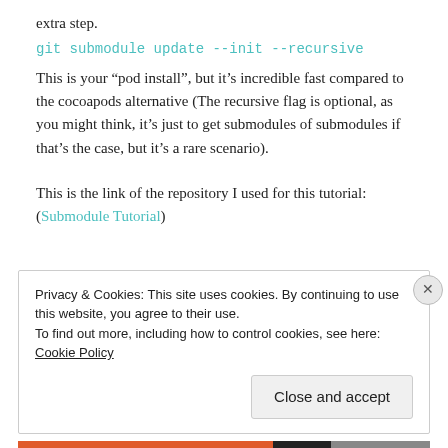extra step.
git submodule update --init --recursive
This is your “pod install”, but it’s incredible fast compared to the cocoapods alternative (The recursive flag is optional, as you might think, it’s just to get submodules of submodules if that’s the case, but it’s a rare scenario).
This is the link of the repository I used for this tutorial: (Submodule Tutorial)
Privacy & Cookies: This site uses cookies. By continuing to use this website, you agree to their use.
To find out more, including how to control cookies, see here: Cookie Policy
Close and accept